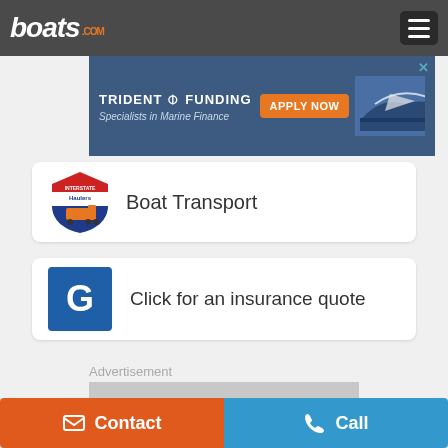boats.com
[Figure (screenshot): Trident Funding advertisement banner - Specialists in Marine Finance with Apply Now button and boat image]
[Figure (logo): Interstate Haulers shield logo]
Boat Transport
[Figure (logo): G insurance logo - blue square with white G letter]
Click for an insurance quote
Advertisement
[Figure (other): Grey advertisement placeholder box]
Contact
Call